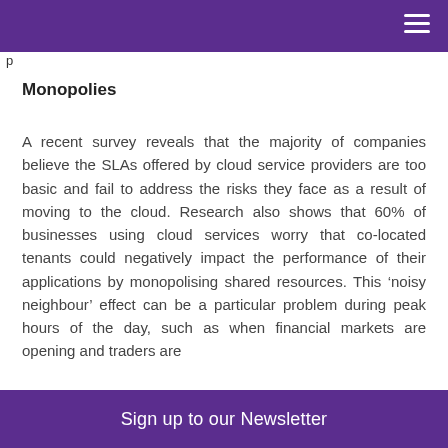p
Monopolies
A recent survey reveals that the majority of companies believe the SLAs offered by cloud service providers are too basic and fail to address the risks they face as a result of moving to the cloud. Research also shows that 60% of businesses using cloud services worry that co-located tenants could negatively impact the performance of their applications by monopolising shared resources. This ‘noisy neighbour’ effect can be a particular problem during peak hours of the day, such as when financial markets are opening and traders are
Sign up to our Newsletter